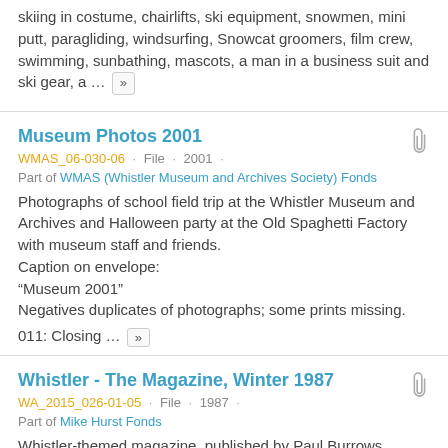skiing in costume, chairlifts, ski equipment, snowmen, mini putt, paragliding, windsurfing, Snowcat groomers, film crew, swimming, sunbathing, mascots, a man in a business suit and ski gear, a ... »
Museum Photos 2001
WMAS_06-030-06 · File · 2001 ·
Part of WMAS (Whistler Museum and Archives Society) Fonds
Photographs of school field trip at the Whistler Museum and Archives and Halloween party at the Old Spaghetti Factory with museum staff and friends.
Caption on envelope:
"Museum 2001"
Negatives duplicates of photographs; some prints missing.
011: Closing ... »
Whistler - The Magazine, Winter 1987
WA_2015_026-01-05 · File · 1987 ·
Part of Mike Hurst Fonds
Whistler-themed magazine, published by Paul Burrows, containing the following articles:
"Shopping Around the Valley: A potpourri of gifts, treats, and